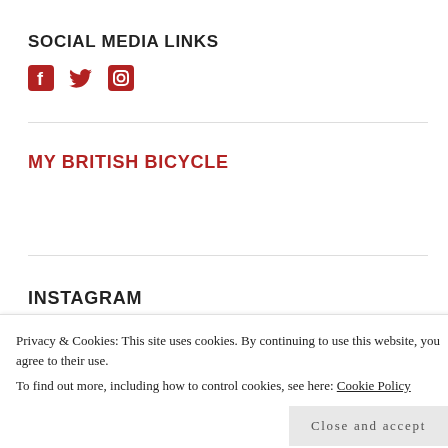SOCIAL MEDIA LINKS
[Figure (illustration): Three social media icons in red: Facebook (f), Twitter (bird), Instagram (camera)]
MY BRITISH BICYCLE
INSTAGRAM
Privacy & Cookies: This site uses cookies. By continuing to use this website, you agree to their use.
To find out more, including how to control cookies, see here: Cookie Policy
Close and accept